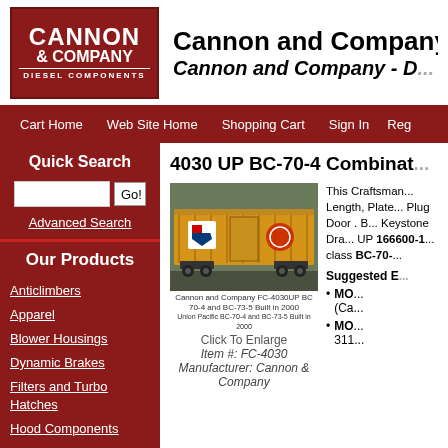[Figure (logo): Cannon & Company Diesel Components logo - red box with white text]
Cannon and Company
Cannon and Company - D...
Cart Home   Web Site Home   Shopping Cart   Sign In   Reg...
Quick Search
Advanced Search
Our Products
Anticlimbers
Apparel
Blower Housings
Dynamic Brakes
Filters and Turbo Hatches
Hood Components
Hood Doors
4030 UP BC-70-4 Combinat...
[Figure (photo): Yellow Union Pacific freight box car model photo]
Click To Enlarge
Item #: FC-4030
Manufacturer: Cannon & Company
This Craftsman... Length, Plate... Plug Door . B... Keystone Dra... UP 166600-1... class BC-70-...
Suggested E...
MO... (Ca...
MO... 311...